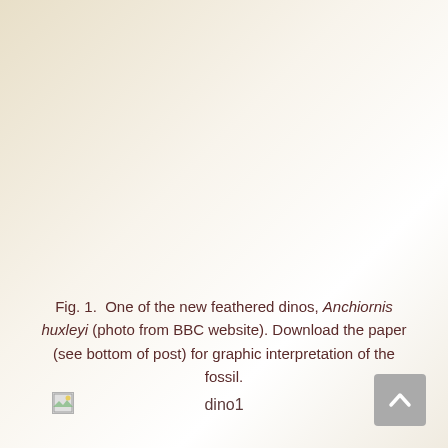Fig. 1.  One of the new feathered dinos, Anchiornis huxleyi (photo from BBC website). Download the paper (see bottom of post) for graphic interpretation of the fossil.
[Figure (photo): Broken/missing image placeholder icon (small landscape icon with mountains and sun)]
dino1
[Figure (other): Grey scroll-to-top button with upward-pointing chevron/arrow]